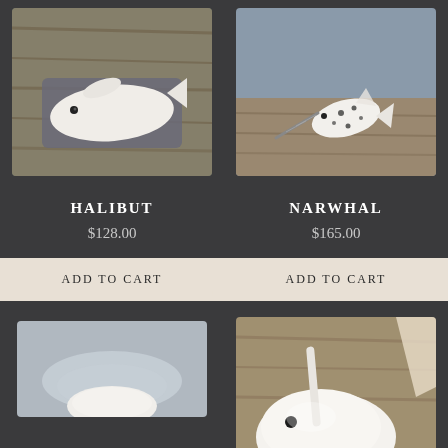[Figure (photo): White ceramic halibut fish figurine resting on a gray rectangular plate on a wooden surface]
[Figure (photo): White ceramic narwhal figurine with black spots and a spiral tusk, resting on weathered wood]
HALIBUT
NARWHAL
$128.00
$165.00
ADD TO CART
ADD TO CART
[Figure (photo): Partial view of a white ceramic sea creature figurine on a reflective surface]
[Figure (photo): White ceramic narwhal or whale figurine with a single dot eye, close-up on wood background]